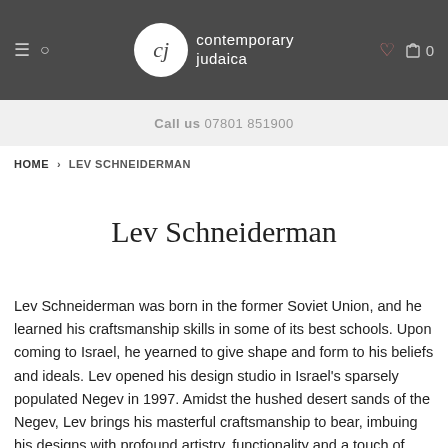contemporary judaica — Call us 07801 851900
HOME > LEV SCHNEIDERMAN
Lev Schneiderman
Lev Schneiderman was born in the former Soviet Union, and he learned his craftsmanship skills in some of its best schools. Upon coming to Israel, he yearned to give shape and form to his beliefs and ideals. Lev opened his design studio in Israel's sparsely populated Negev in 1997. Amidst the hushed desert sands of the Negev, Lev brings his masterful craftsmanship to bear, imbuing his designs with profound artistry, functionality and a touch of mystical